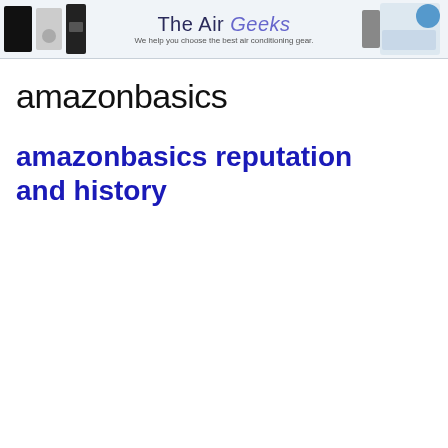[Figure (logo): The Air Geeks website header banner with product images on left and right, and site title 'The Air Geeks' with tagline 'We help you choose the best air conditioning gear.' in the center]
amazonbasics
amazonbasics reputation and history